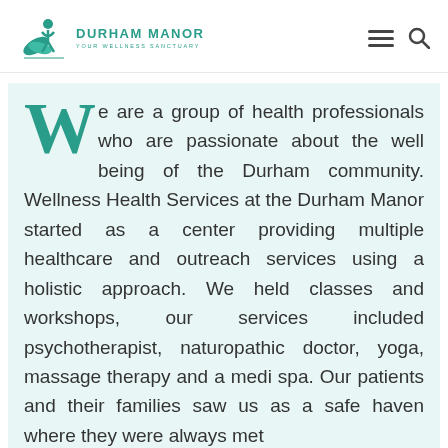[Figure (logo): Durham Manor logo with teal leaf/figure graphic and text 'DURHAM MANOR YOUR WELLNESS SANCTUARY']
We are a group of health professionals who are passionate about the well being of the Durham community. Wellness Health Services at the Durham Manor started as a center providing multiple healthcare and outreach services using a holistic approach. We held classes and workshops, our services included psychotherapist, naturopathic doctor, yoga, massage therapy and a medi spa. Our patients and their families saw us as a safe haven where they were always met